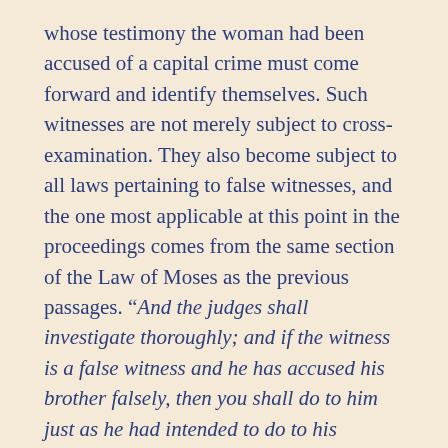whose testimony the woman had been accused of a capital crime must come forward and identify themselves. Such witnesses are not merely subject to cross-examination. They also become subject to all laws pertaining to false witnesses, and the one most applicable at this point in the proceedings comes from the same section of the Law of Moses as the previous passages. “And the judges shall investigate thoroughly; and if the witness is a false witness and he has accused his brother falsely, then you shall do to him just as he had intended to do to his brother. Thus you shall purge the evil from among you” (Deuteronomy 19:18-19).